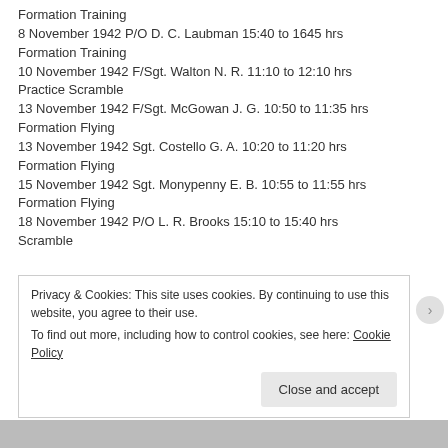Formation Training
8 November 1942 P/O D. C. Laubman 15:40 to 1645 hrs Formation Training
10 November 1942 F/Sgt. Walton N. R. 11:10 to 12:10 hrs Practice Scramble
13 November 1942 F/Sgt. McGowan J. G. 10:50 to 11:35 hrs Formation Flying
13 November 1942 Sgt. Costello G. A. 10:20 to 11:20 hrs Formation Flying
15 November 1942 Sgt. Monypenny E. B. 10:55 to 11:55 hrs Formation Flying
18 November 1942 P/O L. R. Brooks 15:10 to 15:40 hrs Scramble
Privacy & Cookies: This site uses cookies. By continuing to use this website, you agree to their use. To find out more, including how to control cookies, see here: Cookie Policy
Close and accept